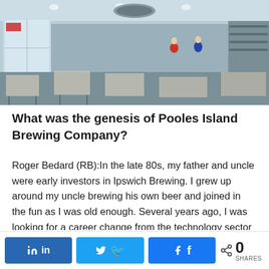[Figure (photo): Interior of Pooles Island Brewing Company taproom showing tables, chairs, and brewery equipment in a large open space]
What was the genesis of Pooles Island Brewing Company?
Roger Bedard (RB):In the late 80s, my father and uncle were early investors in Ipswich Brewing. I grew up around my uncle brewing his own beer and joined in the fun as I was old enough. Several years ago, I was looking for a career change from the technology sector and envisioned an opportunity in Baltimore County given its lack of brewing companies. Our goal was to focus exclusively on selling our beer products in house. It took us approximately one year to plan the facility
in  [LinkedIn share button]  [Twitter share button]  [Facebook share button]  < 0 SHARES